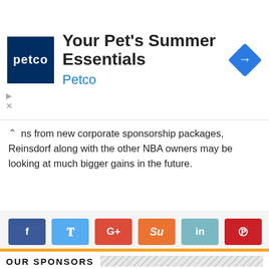[Figure (other): Petco advertisement banner with logo, title 'Your Pet's Summer Essentials', subtitle 'Petco', and navigation arrow icon]
ns from new corporate sponsorship packages, Reinsdorf along with the other NBA owners may be looking at much bigger gains in the future.
[Figure (other): Social sharing buttons row: Facebook (f), Twitter (bird), Google+ (G+), StumbleUpon (Su), LinkedIn (in), Pinterest (p)]
OUR SPONSORS